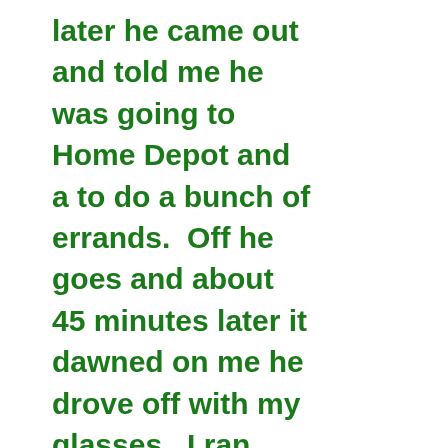later he came out and told me he was going to Home Depot and a to do a bunch of errands.  Off he goes and about 45 minutes later it dawned on me he drove off with my glasses.  I ran down the street and looked for them without any luck.  I foolishly